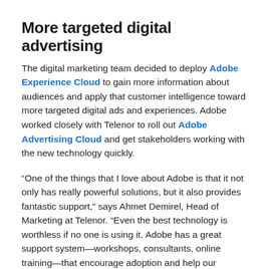More targeted digital advertising
The digital marketing team decided to deploy Adobe Experience Cloud to gain more information about audiences and apply that customer intelligence toward more targeted digital ads and experiences. Adobe worked closely with Telenor to roll out Adobe Advertising Cloud and get stakeholders working with the new technology quickly.
“One of the things that I love about Adobe is that it not only has really powerful solutions, but it also provides fantastic support,” says Ahmet Demirel, Head of Marketing at Telenor. “Even the best technology is worthless if no one is using it. Adobe has a great support system—workshops, consultants, online training—that encourage adoption and help our marketing team achieve great results for Telenor.”